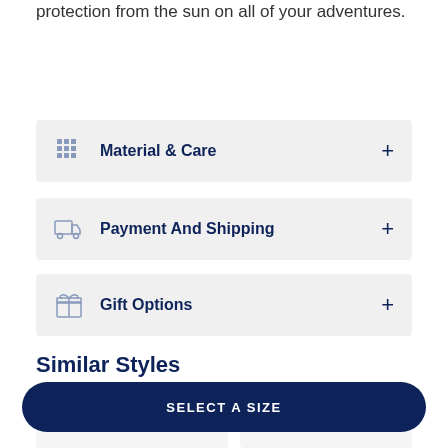protection from the sun on all of your adventures.
Material & Care
Payment And Shipping
Gift Options
Similar Styles
[Figure (other): SELECT A SIZE button overlay at bottom of page]